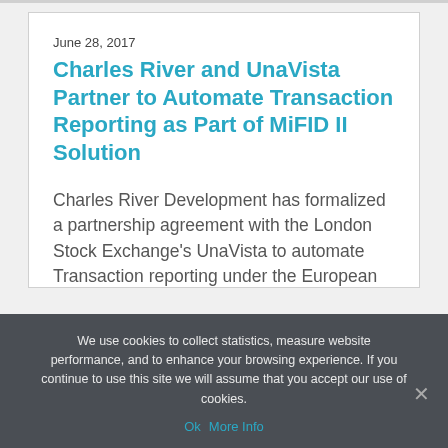June 28, 2017
Charles River and UnaVista Partner to Automate Transaction Reporting as Part of MiFID II Solution
Charles River Development has formalized a partnership agreement with the London Stock Exchange's UnaVista to automate Transaction reporting under the European Union's Markets in Financial Directive II (MiFID II). Under the
We use cookies to collect statistics, measure website performance, and to enhance your browsing experience. If you continue to use this site we will assume that you accept our use of cookies.
Ok  More Info